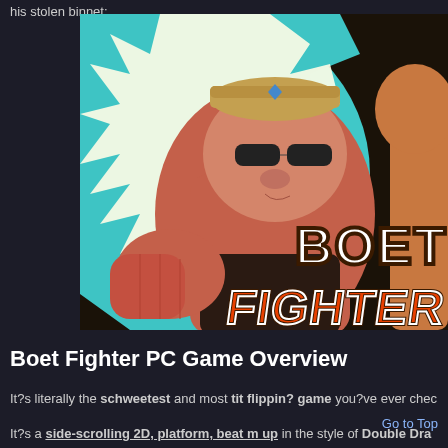his stolen binnet:...
[Figure (illustration): Boet Fighter game promotional art showing a stocky man in sunglasses and cap punching forward with teal/orange background and BOET FIGHTER text logo]
Boet Fighter PC Game Overview
It?s literally the schweetest and most tit flippin? game you?ve ever chec
It?s a side-scrolling 2D, platform, beat m up in the style of Double Drag